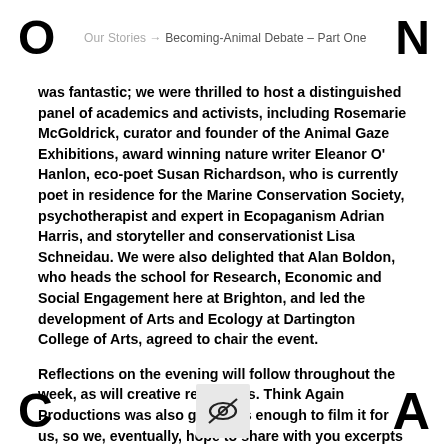O   Our Stories → Becoming-Animal Debate – Part One   N
was fantastic; we were thrilled to host a distinguished panel of academics and activists, including Rosemarie McGoldrick, curator and founder of the Animal Gaze Exhibitions, award winning nature writer Eleanor O' Hanlon, eco-poet Susan Richardson, who is currently poet in residence for the Marine Conservation Society, psychotherapist and expert in Ecopaganism Adrian Harris, and storyteller and conservationist Lisa Schneidau. We were also delighted that Alan Boldon, who heads the school for Research, Economic and Social Engagement here at Brighton, and led the development of Arts and Ecology at Dartington College of Arts, agreed to chair the event.
Reflections on the evening will follow throughout the week, as will creative responses. Think Again Productions was also generous enough to film it for us, so we, eventually, hope to share with you excerpts from the event
C  [eye-slash icon]  A